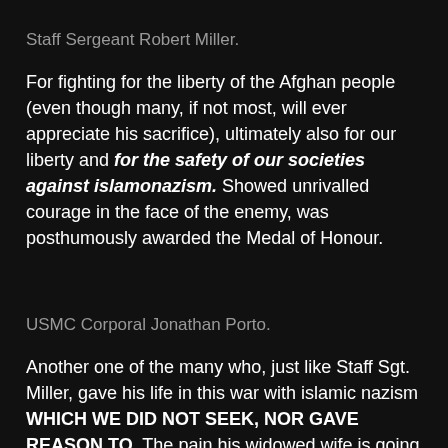Staff Sergeant Robert Miller.
For fighting for the liberty of the Afghan people (even though many, if not most, will ever appreciate his sacrifice), ultimately also for our liberty and for the safety of our societies against islamonazism. Showed unrivalled courage in the face of the enemy, was posthumously awarded the Medal of Honour.
USMC Corporal Jonathan Porto.
Another one of the many who, just like Staff Sgt. Miller, gave his life in this war with islamic nazism WHICH WE DID NOT SEEK, NOR GAVE REASON TO. The pain his widowed wife is going through can be gauged in her latest entry: